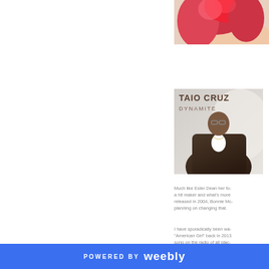[Figure (photo): Partial photo of a woman with red/pink hair, cropped at top right of page]
[Figure (photo): Album cover for Taio Cruz - Dynamite. Shows a man in a leather jacket with glasses against a light background, with text 'TAIO CRUZ DYNAMITE' at top left]
Much like Ester Dean her fo- a hit maker and what's more released in 2004, Bonnie Mc- planning on changing that.
I have sporadically been wa- "American Girl" back in 2013 song on the radio of all plac- was clear. I was either going this…
POWERED BY weebly